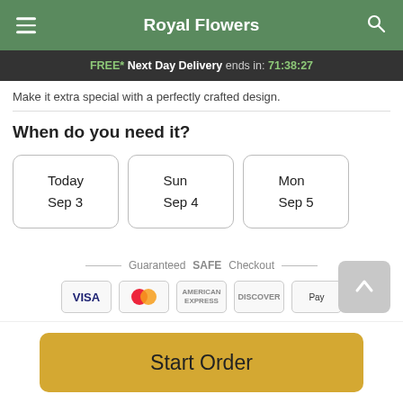Royal Flowers
FREE* Next Day Delivery ends in: 71:38:27
Make it extra special with a perfectly crafted design.
When do you need it?
Today
Sep 3
Sun
Sep 4
Mon
Sep 5
Guaranteed SAFE Checkout
Start Order